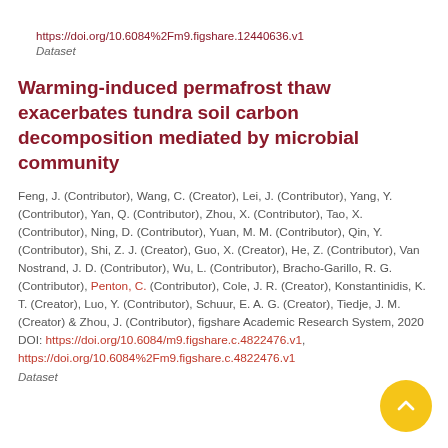https://doi.org/10.6084%2Fm9.figshare.12440636.v1
Dataset
Warming-induced permafrost thaw exacerbates tundra soil carbon decomposition mediated by microbial community
Feng, J. (Contributor), Wang, C. (Creator), Lei, J. (Contributor), Yang, Y. (Contributor), Yan, Q. (Contributor), Zhou, X. (Contributor), Tao, X. (Contributor), Ning, D. (Contributor), Yuan, M. M. (Contributor), Qin, Y. (Contributor), Shi, Z. J. (Creator), Guo, X. (Creator), He, Z. (Contributor), Van Nostrand, J. D. (Contributor), Wu, L. (Contributor), Bracho-Garillo, R. G. (Contributor), Penton, C. (Contributor), Cole, J. R. (Creator), Konstantinidis, K. T. (Creator), Luo, Y. (Contributor), Schuur, E. A. G. (Creator), Tiedje, J. M. (Creator) & Zhou, J. (Contributor), figshare Academic Research System, 2020 DOI: https://doi.org/10.6084/m9.figshare.c.4822476.v1, https://doi.org/10.6084%2Fm9.figshare.c.4822476.v1
Dataset